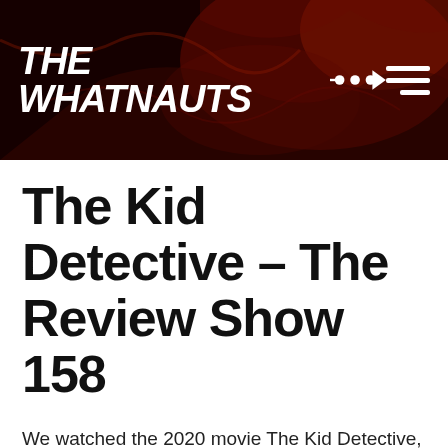[Figure (logo): The Whatnauts website header banner with dark red/black textured background, white bold italic text 'THE WHATNAUTS' with a rocket/fish icon, and a hamburger menu icon on the right]
The Kid Detective – The Review Show 158
We watched the 2020 movie The Kid Detective, a very dark comedy from writer and director Evan Morgan. Abe Applebaum started a detective